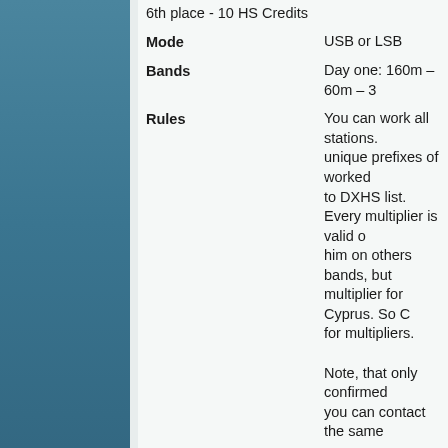6th place - 10 HS Credits
Mode: USB or LSB
Bands: Day one: 160m – 60m – 3
Rules: You can work all stations. unique prefixes of worked to DXHS list. Every multiplier is valid on him on others bands, but multiplier for Cyprus. So C for multipliers. Note, that only confirmed you can contact the same
Score Calculation: Total points for QSOs mul
Max Power: 100 Watts
Exchange: RS + Serial number (start
QSO Points: 1 point per QSO (0-1500), 2 points per QSO (1500 k), 3 points per QSO (3500 k), 4 points per QSO (7500 k)